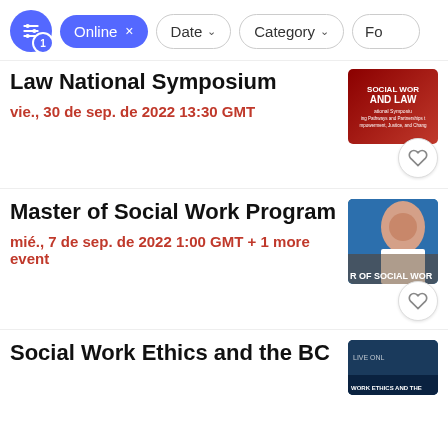Online × | Date ∨ | Category ∨ | Fo...
Law National Symposium
vie., 30 de sep. de 2022 13:30 GMT
[Figure (photo): Red and white banner image for Social Work and Law National Symposium — Pathways and Partnerships to Empowerment, Justice, and Change]
Master of Social Work Program
mié., 7 de sep. de 2022 1:00 GMT + 1 more event
[Figure (photo): Photo of a smiling woman in a white shirt, likely a social worker, with text overlay reading R OF SOCIAL WOR]
Social Work Ethics and the BC